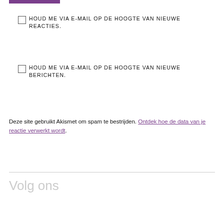[Figure (other): Purple horizontal bar at top left]
HOUD ME VIA E-MAIL OP DE HOOGTE VAN NIEUWE REACTIES.
HOUD ME VIA E-MAIL OP DE HOOGTE VAN NIEUWE BERICHTEN.
Deze site gebruikt Akismet om spam te bestrijden. Ontdek hoe de data van je reactie verwerkt wordt.
Volg ons